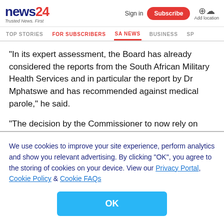news24 | Trusted News. First | Sign in | Subscribe | Add location
TOP STORIES | FOR SUBSCRIBERS | SA NEWS | BUSINESS | SP...
"In its expert assessment, the Board has already considered the reports from the South African Military Health Services and in particular the report by Dr Mphatswe and has recommended against medical parole," he said.
"The decision by the Commissioner to now rely on these reports to overturn the recommendation of the Board is
We use cookies to improve your site experience, perform analytics and show you relevant advertising. By clicking "OK", you agree to the storing of cookies on your device. View our Privacy Portal, Cookie Policy & Cookie FAQs
OK